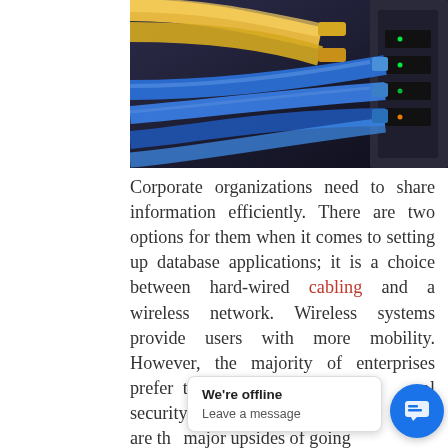[Figure (photo): Close-up photo of yellow and blue ethernet/network cables plugged into a network switch or router. Yellow cable connectors on the left, blue cables running to the right into a dark device.]
Corporate organizations need to share information efficiently. There are two options for them when it comes to setting up database applications; it is a choice between hard-wired cabling and a wireless network. Wireless systems provide users with more mobility. However, the majority of enterprises prefer the wired mo... rol security, c... e... These are the major upsides of going